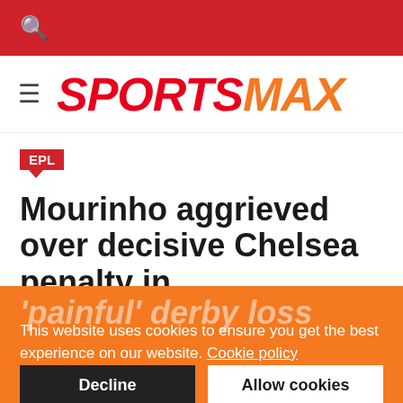SportsMax website header with search icon
[Figure (logo): SPORTSMAX logo in red and orange italic bold text with hamburger menu icon]
EPL
Mourinho aggrieved over decisive Chelsea penalty in 'painful' derby loss
This website uses cookies to ensure you get the best experience on our website. Cookie policy Privacy policy
Decline | Allow cookies